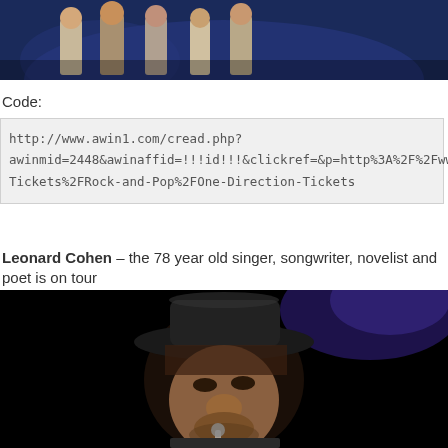[Figure (photo): Top portion of a group photo of several people (likely a band) on a stage with blue lighting, partially cropped at the top of the page.]
Code:
http://www.awin1.com/cread.php?awinmid=2448&awinaffid=!!!id!!!&clickref=&p=http%3A%2F%2Fwww.viagogo.co.uk%2FConcert-Tickets%2FRock-and-Pop%2FOne-Direction-Tickets
Leonard Cohen – the 78 year old singer, songwriter, novelist and poet is on tour
[Figure (photo): Close-up photo of Leonard Cohen performing on stage, wearing a dark fedora hat, against a black background with purple stage lighting.]